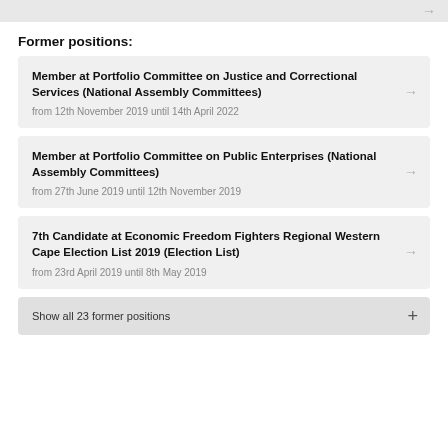Former positions:
Member at Portfolio Committee on Justice and Correctional Services (National Assembly Committees)
from 12th November 2019 until 14th April 2022
Member at Portfolio Committee on Public Enterprises (National Assembly Committees)
from 27th June 2019 until 12th November 2019
7th Candidate at Economic Freedom Fighters Regional Western Cape Election List 2019 (Election List)
from 23rd April 2019 until 8th May 2019
Show all 23 former positions